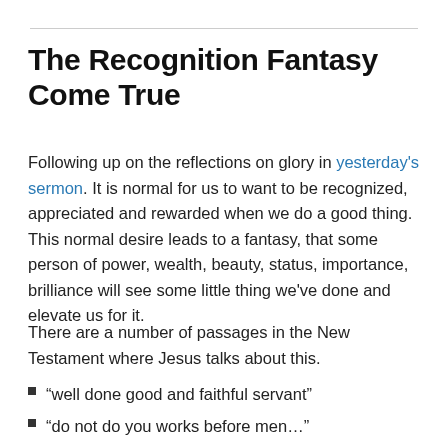The Recognition Fantasy Come True
Following up on the reflections on glory in yesterday's sermon. It is normal for us to want to be recognized, appreciated and rewarded when we do a good thing. This normal desire leads to a fantasy, that some person of power, wealth, beauty, status, importance, brilliance will see some little thing we've done and elevate us for it.
There are a number of passages in the New Testament where Jesus talks about this.
“well done good and faithful servant”
“do not do you works before men…”